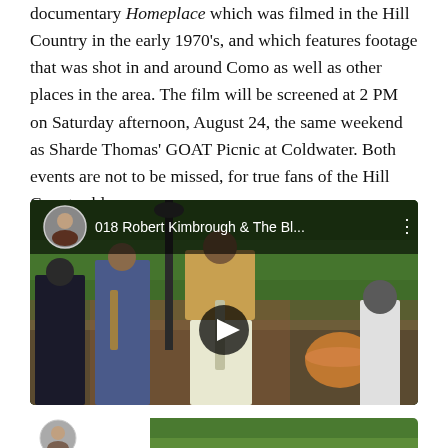documentary Homeplace which was filmed in the Hill Country in the early 1970's, and which features footage that was shot in and around Como as well as other places in the area. The film will be screened at 2 PM on Saturday afternoon, August 24, the same weekend as Sharde Thomas' GOAT Picnic at Coldwater. Both events are not to be missed, for true fans of the Hill Country blues.
[Figure (screenshot): YouTube video thumbnail showing Robert Kimbrough & The Bl... with a band performing outdoors. Play button visible in center. User avatar and video title shown in header bar.]
[Figure (screenshot): Second YouTube video thumbnail partially visible at bottom of page, showing user avatar and outdoor scene.]